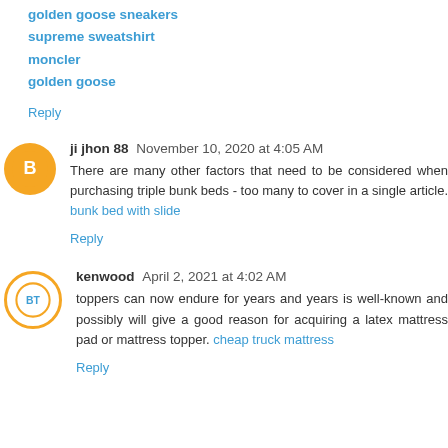golden goose sneakers
supreme sweatshirt
moncler
golden goose
Reply
ji jhon 88  November 10, 2020 at 4:05 AM
There are many other factors that need to be considered when purchasing triple bunk beds - too many to cover in a single article. bunk bed with slide
Reply
kenwood  April 2, 2021 at 4:02 AM
toppers can now endure for years and years is well-known and possibly will give a good reason for acquiring a latex mattress pad or mattress topper. cheap truck mattress
Reply